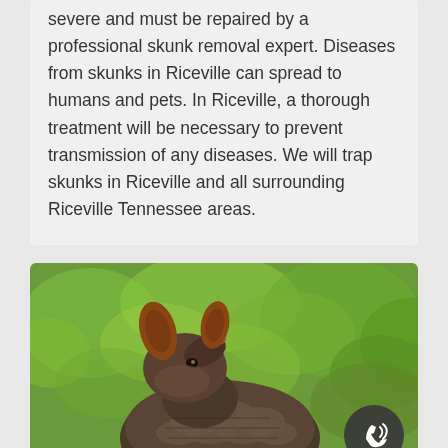severe and must be repaired by a professional skunk removal expert. Diseases from skunks in Riceville can spread to humans and pets. In Riceville, a thorough treatment will be necessary to prevent transmission of any diseases. We will trap skunks in Riceville and all surrounding Riceville Tennessee areas.
[Figure (photo): Close-up photo of an armadillo looking upward, with large rounded ears and scaled armored body, against a blurred green leafy background. A dark circular phone/call button icon is overlaid in the bottom-right corner.]